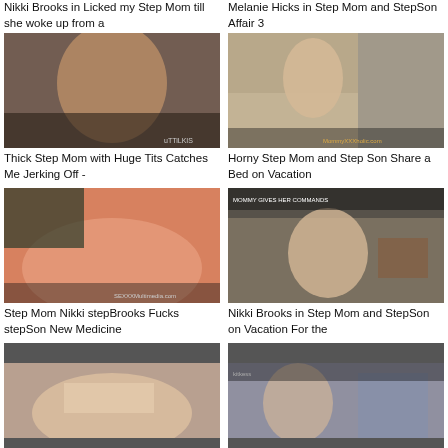Nikki Brooks in Licked my Step Mom till she woke up from a
Melanie Hicks in Step Mom and StepSon Affair 3
[Figure (photo): Video thumbnail showing a woman in black lingerie]
[Figure (photo): Video thumbnail showing a blonde woman in black bodysuit in a hotel room]
Thick Step Mom with Huge Tits Catches Me Jerking Off -
Horny Step Mom and Step Son Share a Bed on Vacation
[Figure (photo): Video thumbnail showing a woman in pink/orange outfit on a couch]
[Figure (photo): Video thumbnail showing a blonde woman in a hotel room holding a cup]
Step Mom Nikki stepBrooks Fucks stepSon New Medicine
Nikki Brooks in Step Mom and StepSon on Vacation For the
[Figure (photo): Video thumbnail showing a woman lying down smiling]
[Figure (photo): Video thumbnail showing a dark-haired woman with a man]